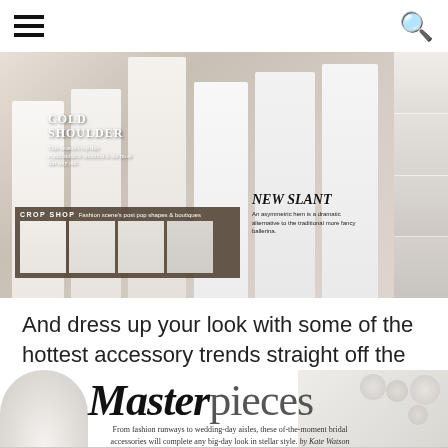[Figure (photo): Bridal fashion magazine spread showing multiple models in white wedding dresses. Labels include 'COLD SHOULDER', 'CROP SHOP', and 'NEW SLANT'. Right side features thumbnail images of additional bridal looks.]
And dress up your look with some of the hottest accessory trends straight off the bridal catwalks.
[Figure (photo): Start of a magazine article titled 'Masterpieces' with subtitle: From fashion runways to wedding-day aisles, these of-the-moment bridal accessories will complete any big-day look in stellar style. by Kate Watson. Accompanied by images of pearl and crystal jewelry.]